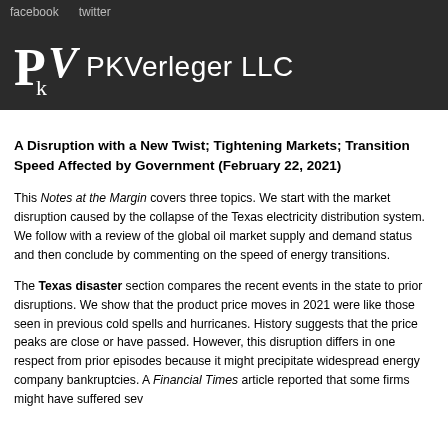facebook   twitter
[Figure (logo): PKVerleger LLC logo with stylized PkV monogram on dark background]
A Disruption with a New Twist; Tightening Markets; Transition Speed Affected by Government (February 22, 2021)
This Notes at the Margin covers three topics. We start with the market disruption caused by the collapse of the Texas electricity distribution system. We follow with a review of the global oil market supply and demand status and then conclude by commenting on the speed of energy transitions.
The Texas disaster section compares the recent events in the state to prior disruptions. We show that the product price moves in 2021 were like those seen in previous cold spells and hurricanes. History suggests that the price peaks are close or have passed. However, this disruption differs in one respect from prior episodes because it might precipitate widespread energy company bankruptcies. A Financial Times article reported that some firms might have suffered sev...